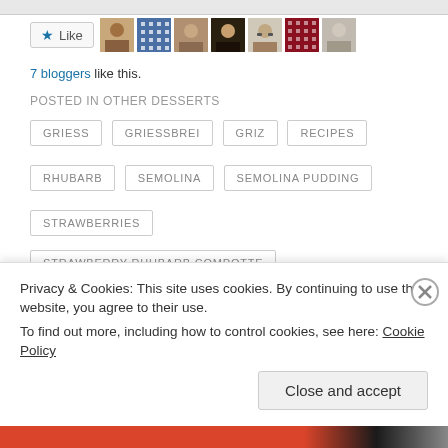[Figure (screenshot): Top partial navigation buttons (cropped from previous page section)]
★ Like  [blogger avatars: 7 blogger profile images]
7 bloggers like this.
POSTED IN OTHER DESSERTS
GRIESS
GRIESSBREI
GRIZ
RECIPES
RHUBARB
SEMOLINA
SEMOLINA PUDDING
STRAWBERRIES
STRAWBERRY-RHUBARB COMPOTTE
STRAWBERRY-RHUBARB SAUCE
Privacy & Cookies: This site uses cookies. By continuing to use this website, you agree to their use.
To find out more, including how to control cookies, see here: Cookie Policy
Close and accept